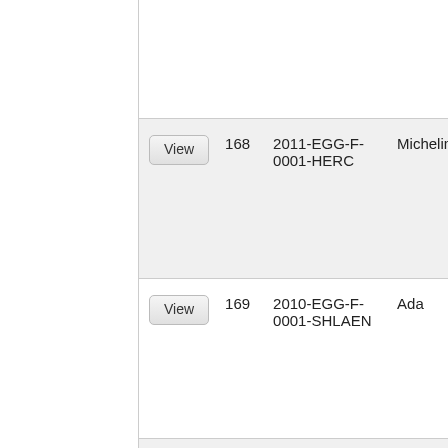| Action | ID | Reference | Name |
| --- | --- | --- | --- |
| View | 168 | 2011-EGG-F-0001-HERC | Micheline |
| View | 169 | 2010-EGG-F-0001-SHLAEN | Ada |
| View | 170 | 2009-EGG-F-0001-VERIGNA | Marianne |